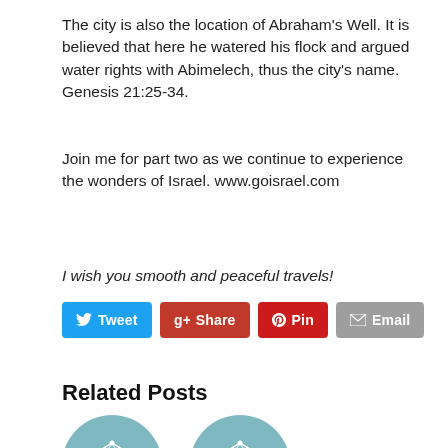The city is also the location of Abraham's Well. It is believed that here he watered his flock and argued water rights with Abimelech, thus the city's name. Genesis 21:25-34.
Join me for part two as we continue to experience the wonders of Israel. www.goisrael.com
I wish you smooth and peaceful travels!
Tweet  Share  Pin  Email
Related Posts